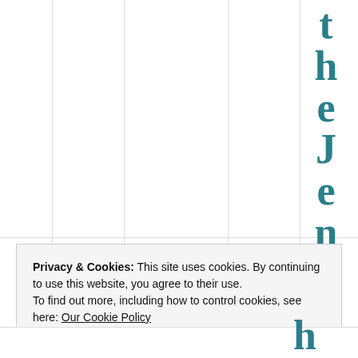[Figure (other): Table or grid layout with vertical column dividers and a vertically-oriented text spelling 'theJennifer' on the right side in teal/dark cyan serif bold font]
Privacy & Cookies: This site uses cookies. By continuing to use this website, you agree to their use.
To find out more, including how to control cookies, see here: Our Cookie Policy
Close and accept